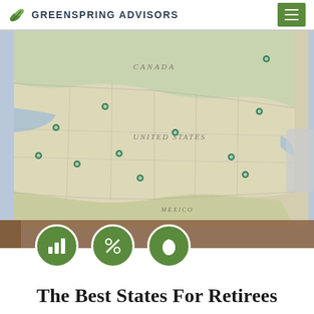GREENSPRING ADVISORS
[Figure (map): A vintage-style physical map of North America (United States, Canada, Mexico) laid flat on a wooden surface, with teal/green push pins marking various locations across the United States. The map shows state and country boundaries, terrain features, and place names including UNITED STATES, CANADA, and MEXICO. Three green circular icons overlay the bottom of the image showing bar chart, percent, and egg/savings icons.]
The Best States For Retirees